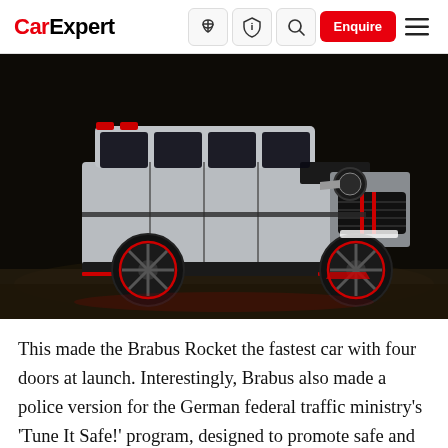CarExpert — Enquire
[Figure (photo): Silver and black Brabus rocket G-class SUV modified vehicle photographed in a dark studio setting with red accent lighting and carbon fiber body kit]
This made the Brabus Rocket the fastest car with four doors at launch. Interestingly, Brabus also made a police version for the German federal traffic ministry's 'Tune It Safe!' program, designed to promote safe and